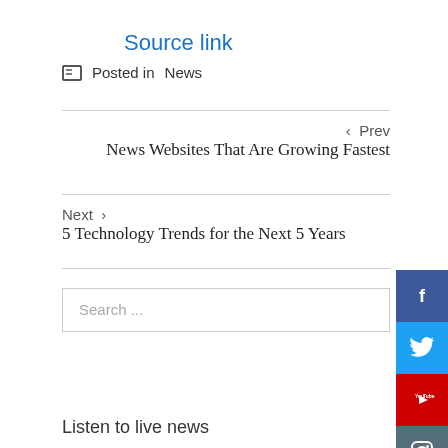Source link
Posted in News
< Prev
News Websites That Are Growing Fastest
Next >
5 Technology Trends for the Next 5 Years
Search ...
Listen to live news